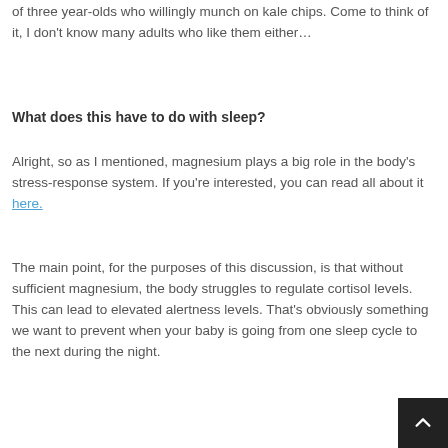of three year-olds who willingly munch on kale chips. Come to think of it, I don't know many adults who like them either…
What does this have to do with sleep?
Alright, so as I mentioned, magnesium plays a big role in the body's stress-response system. If you're interested, you can read all about it here.
The main point, for the purposes of this discussion, is that without sufficient magnesium, the body struggles to regulate cortisol levels. This can lead to elevated alertness levels. That's obviously something we want to prevent when your baby is going from one sleep cycle to the next during the night.